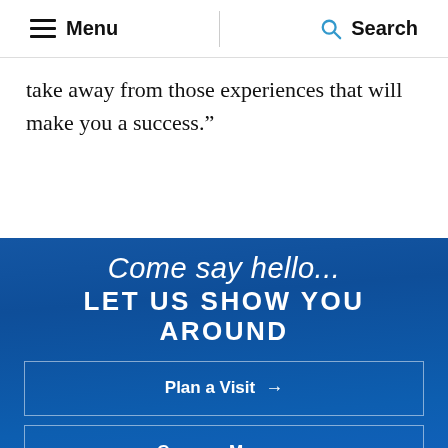Menu | Search
take away from those experiences that will make you a success.”
[Figure (screenshot): Blue university website section with cursive heading 'Come say hello...' and bold uppercase text 'LET US SHOW YOU AROUND' followed by three call-to-action buttons: Plan a Visit, Campus Map, Virtual Tour]
Plan a Visit →
Campus Map →
Virtual Tour →